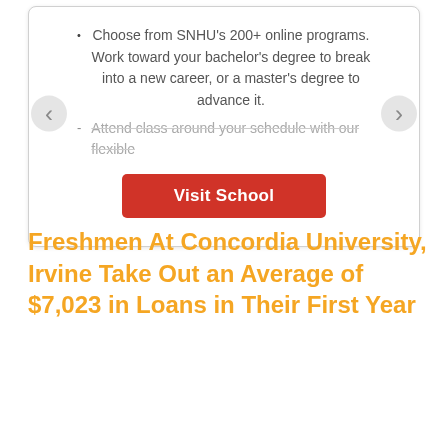Choose from SNHU’s 200+ online programs. Work toward your bachelor’s degree to break into a new career, or a master’s degree to advance it.
Attend class around your schedule with our flexible
[Figure (other): Red button labeled Visit School]
Freshmen At Concordia University, Irvine Take Out an Average of $7,023 in Loans in Their First Year